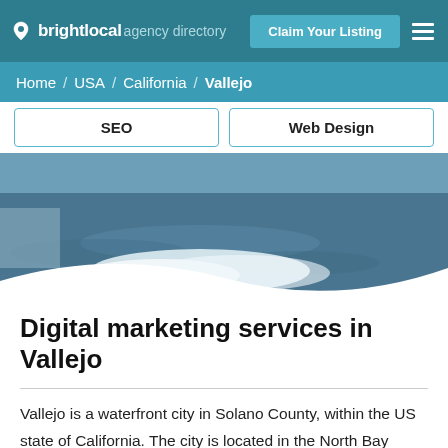brightlocal agency directory — Claim Your Listing
Home / USA / California / Vallejo
[Figure (screenshot): Service tabs showing SEO and Web Design options]
[Figure (photo): Waterfront scene of Vallejo with water and shoreline, white wave overlay at bottom]
Digital marketing services in Vallejo
Vallejo is a waterfront city in Solano County, within the US state of California. The city is located in the North Bay region of San Francisco Bay and benefits from being geographically close to the inner East Bay. As the largest city in Solano County, it is home to many businesses operating in the public and private sectors. Whatever